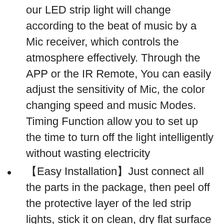our LED strip light will change according to the beat of music by a Mic receiver, which controls the atmosphere effectively. Through the APP or the IR Remote, You can easily adjust the sensitivity of Mic, the color changing speed and music Modes. Timing Function allow you to set up the time to turn off the light intelligently without wasting electricity
【Easy Installation】Just connect all the parts in the package, then peel off the protective layer of the led strip lights, stick it on clean, dry flat surface and start to use. After installation, you can use the buckle we equipped for you to reinforce the light strip
【All In One Kit】Fully equipped accessories, it comes with 1 roll of 50ft Led light strip an AC